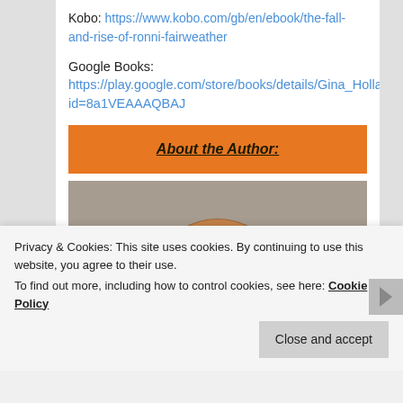Kobo: https://www.kobo.com/gb/en/ebook/the-fall-and-rise-of-ronni-fairweather
Google Books: https://play.google.com/store/books/details/Gina_Hollands_?id=8a1VEAAAQBAJ
About the Author:
[Figure (photo): Top of a person's head with brown/auburn hair against a blurred brick wall background]
Privacy & Cookies: This site uses cookies. By continuing to use this website, you agree to their use.
To find out more, including how to control cookies, see here: Cookie Policy
Close and accept